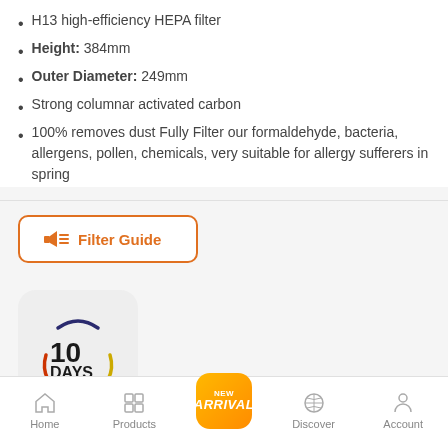H13 high-efficiency HEPA filter
Height: 384mm
Outer Diameter: 249mm
Strong columnar activated carbon
100% removes dust Fully Filter our formaldehyde, bacteria, allergens, pollen, chemicals, very suitable for allergy sufferers in spring
[Figure (other): Orange-bordered button with filter icon and text Filter Guide]
[Figure (logo): 10 Days Replacement Warranty badge in grey rounded square]
[Figure (other): Bottom navigation bar with Home, Products, New Arrival (center orange), Discover, Account]